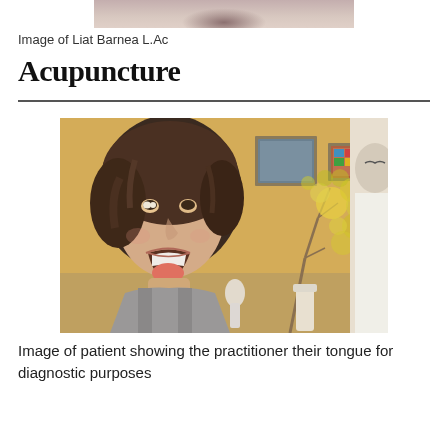[Figure (photo): Partial photo of Liat Barnea L.Ac at top of page, cropped hands/upper body visible]
Image of Liat Barnea L.Ac
Acupuncture
[Figure (photo): Photo of a patient showing the practitioner their tongue for diagnostic purposes. Patient is a young woman with curly brown hair, mouth open, looking toward the practitioner. Background shows a warm yellow room with framed pictures and a decorative branch with lights.]
Image of patient showing the practitioner their tongue for diagnostic purposes